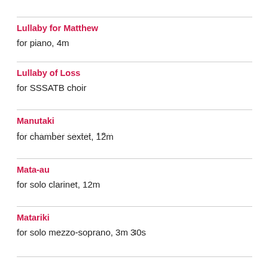Lullaby for Matthew
for piano, 4m
Lullaby of Loss
for SSSATB choir
Manutaki
for chamber sextet, 12m
Mata-au
for solo clarinet, 12m
Matariki
for solo mezzo-soprano, 3m 30s